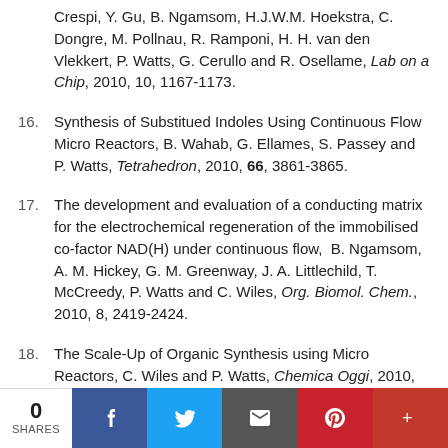Crespi, Y. Gu, B. Ngamsom, H.J.W.M. Hoekstra, C. Dongre, M. Pollnau, R. Ramponi, H. H. van den Vlekkert, P. Watts, G. Cerullo and R. Osellame, Lab on a Chip, 2010, 10, 1167-1173.
16. Synthesis of Substitued Indoles Using Continuous Flow Micro Reactors, B. Wahab, G. Ellames, S. Passey and P. Watts, Tetrahedron, 2010, 66, 3861-3865.
17. The development and evaluation of a conducting matrix for the electrochemical regeneration of the immobilised co-factor NAD(H) under continuous flow, B. Ngamsom, A. M. Hickey, G. M. Greenway, J. A. Littlechild, T. McCreedy, P. Watts and C. Wiles, Org. Biomol. Chem., 2010, 8, 2419-2424.
18. The Scale-Up of Organic Synthesis using Micro Reactors, C. Wiles and P. Watts, Chemica Oggi, 2010, 28(3), 3-5.